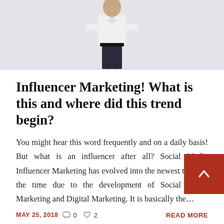[Figure (photo): Person standing with back to camera, arms on hips, wearing white shirt and dark jeans, on light grey background]
Influencer Marketing! What is this and where did this trend begin?
You might hear this word frequently and on a daily basis! But what is an influencer after all? Social Media Influencer Marketing has evolved into the newest trend of the time due to the development of Social Media Marketing and Digital Marketing. It is basically the…
MAY 25, 2018  0  2  READ MORE